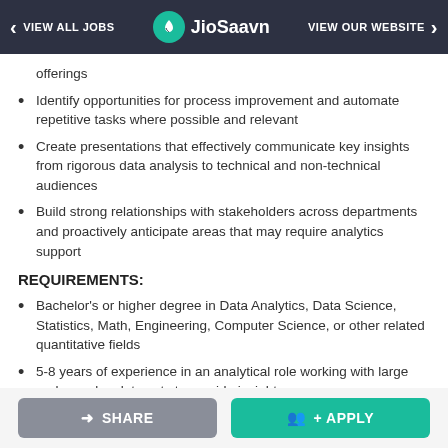VIEW ALL JOBS | JioSaavn | VIEW OUR WEBSITE
offerings
Identify opportunities for process improvement and automate repetitive tasks where possible and relevant
Create presentations that effectively communicate key insights from rigorous data analysis to technical and non-technical audiences
Build strong relationships with stakeholders across departments and proactively anticipate areas that may require analytics support
REQUIREMENTS:
Bachelor's or higher degree in Data Analytics, Data Science, Statistics, Math, Engineering, Computer Science, or other related quantitative fields
5-8 years of experience in an analytical role working with large and complex data sets to provide insights
5-8 years of experience working at an advanced SOL